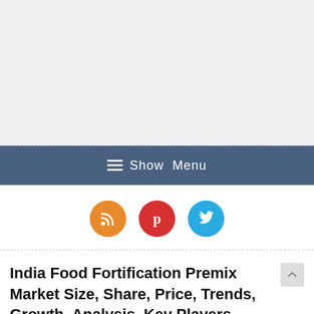[Figure (other): Gray advertisement placeholder area at the top of the page]
≡  Show  Menu
[Figure (other): Three social media icon circles: RSS (orange), Pinterest (red), Twitter (blue)]
India Food Fortification Premix Market Size, Share, Price, Trends, Growth, Analysis, Key Players, Outlook, Report, Forecast 2021-2026 |